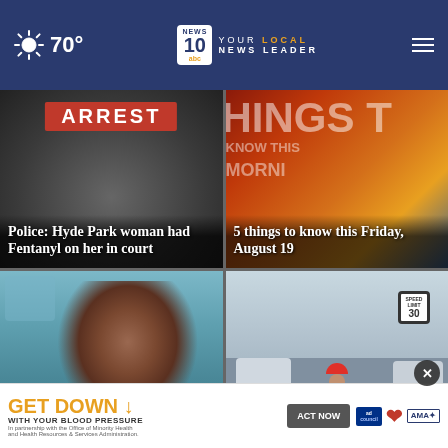70° | NEWS 10 abc YOUR LOCAL NEWS LEADER
[Figure (screenshot): News card: ARREST banner over car interior image with headline 'Police: Hyde Park woman had Fentanyl on her in court']
[Figure (screenshot): News card: '5 things to know this Friday, August 19' over orange/red background with large text 'HINGS T' and 'MORNI' overlay]
[Figure (screenshot): News card: man's face in car selfie with headline 'Hudson Falls PD missing']
[Figure (screenshot): News card: road worker in safety vest and hard hat on street with headline 'Nott Str... Improvement']
[Figure (screenshot): Advertisement banner: GET DOWN WITH YOUR BLOOD PRESSURE - ACT NOW - ad council, American Heart Association, AMA logos]